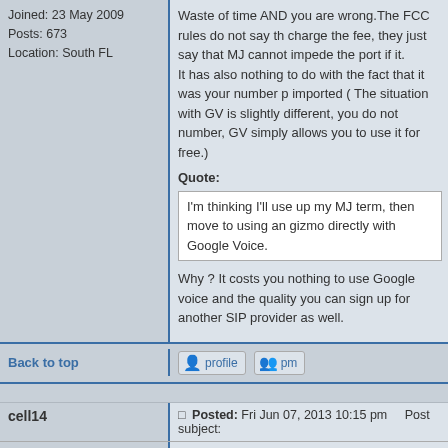Joined: 23 May 2009
Posts: 673
Location: South FL
Waste of time AND you are wrong.The FCC rules do not say that they can't charge the fee, they just say that MJ cannot impede the port if they charge it. It has also nothing to do with the fact that it was your number previously imported ( The situation with GV is slightly different, you do not own the number, GV simply allows you to use it for free.)
Quote:
I'm thinking I'll use up my MJ term, then move to using an ata/gizmo directly with Google Voice.
Why ? It costs you nothing to use Google voice and the quality is good, you can sign up for another SIP provider as well.
Back to top
cell14
Dan Should Pay Me
Posted: Fri Jun 07, 2013 10:15 pm    Post subject:
JeffWest wrote:
. IMHO, any attempt to impede your porting of the number by charging even more money is simply a breach of contract and that should be fairly clear to solve in small claims or arbitration.